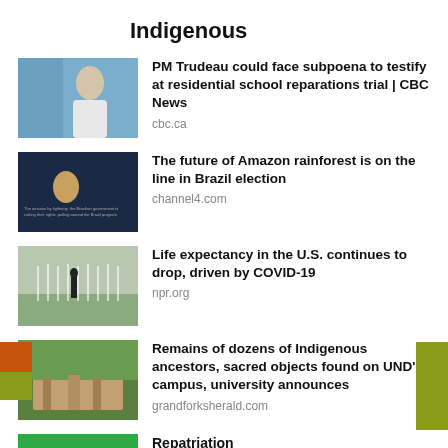Indigenous
[Figure (photo): Portrait of a man against blue background]
PM Trudeau could face subpoena to testify at residential school reparations trial | CBC News
cbc.ca
[Figure (photo): Person speaking on dark stage with text overlay]
The future of Amazon rainforest is on the line in Brazil election
channel4.com
[Figure (photo): Person standing in field of white flags]
Life expectancy in the U.S. continues to drop, driven by COVID-19
npr.org
[Figure (photo): Aerial view of brick building on campus with green trees]
Remains of dozens of Indigenous ancestors, sacred objects found on UND's campus, university announces
grandforksherald.com
[Figure (logo): UND logo - green background with white UND text and orange flame]
Repatriation
und.edu